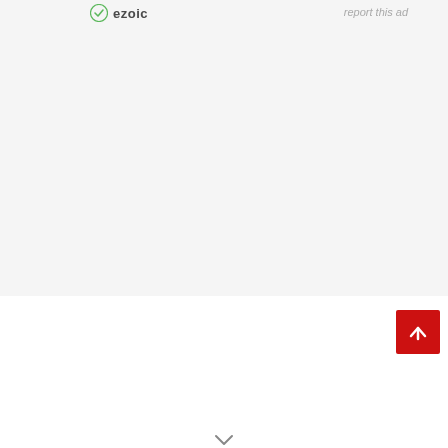[Figure (logo): Ezoic logo with green checkmark icon and bold text 'ezoic']
report this ad
[Figure (other): Large gray advertisement placeholder area]
[Figure (other): Red scroll-to-top button with white upward arrow]
[Figure (other): Small downward chevron/arrow icon at bottom center]